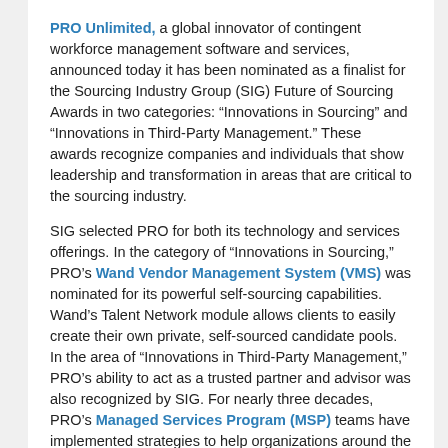PRO Unlimited, a global innovator of contingent workforce management software and services, announced today it has been nominated as a finalist for the Sourcing Industry Group (SIG) Future of Sourcing Awards in two categories: “Innovations in Sourcing” and “Innovations in Third-Party Management.” These awards recognize companies and individuals that show leadership and transformation in areas that are critical to the sourcing industry.
SIG selected PRO for both its technology and services offerings. In the category of “Innovations in Sourcing,” PRO’s Wand Vendor Management System (VMS) was nominated for its powerful self-sourcing capabilities. Wand’s Talent Network module allows clients to easily create their own private, self-sourced candidate pools. In the area of “Innovations in Third-Party Management,” PRO’s ability to act as a trusted partner and advisor was also recognized by SIG. For nearly three decades, PRO’s Managed Services Program (MSP) teams have implemented strategies to help organizations around the world source quality talent, create efficiencies in their sourcing practices and achieve significant cost savings.
“We are very pleased to be nominated by SIG in these two categories, but the real winners are our clients. We constantly strive to deliver cutting-edge contingent workforce...